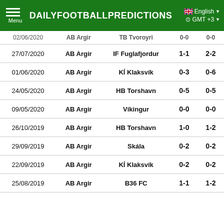DAILYFOOTBALLPREDICTIONS | Menu | English | GMT +3
| Date | Home | Away | HT | FT |
| --- | --- | --- | --- | --- |
| 02/06/2020 | AB Argir | TB Tvoroyri | 0-0 | 0-0 |
| 27/07/2020 | AB Argir | IF Fuglafjordur | 1-1 | 2-2 |
| 01/06/2020 | AB Argir | KÍ Klaksvík | 0-3 | 0-6 |
| 24/05/2020 | AB Argir | HB Torshavn | 0-5 | 0-5 |
| 09/05/2020 | AB Argir | Víkingur | 0-0 | 0-0 |
| 26/10/2019 | AB Argir | HB Torshavn | 1-0 | 1-2 |
| 29/09/2019 | AB Argir | Skála | 0-2 | 0-2 |
| 22/09/2019 | AB Argir | KÍ Klaksvík | 0-2 | 0-2 |
| 25/08/2019 | AB Argir | B36 FC | 1-1 | 1-2 |